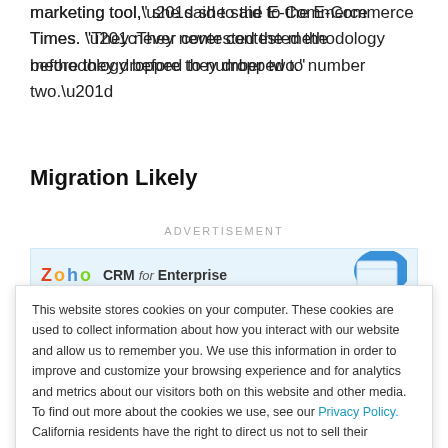marketing tool,” she said to the E-Commerce Times. “They never contested the methodology before they dropped to number two.”
Migration Likely
ADVERTISEMENT
[Figure (screenshot): Zoho CRM for Enterprise advertisement banner with blue graphic]
This website stores cookies on your computer. These cookies are used to collect information about how you interact with our website and allow us to remember you. We use this information in order to improve and customize your browsing experience and for analytics and metrics about our visitors both on this website and other media. To find out more about the cookies we use, see our Privacy Policy. California residents have the right to direct us not to sell their personal information to third parties by filing an Opt-Out Request: Do Not Sell My Personal Info.
Accept